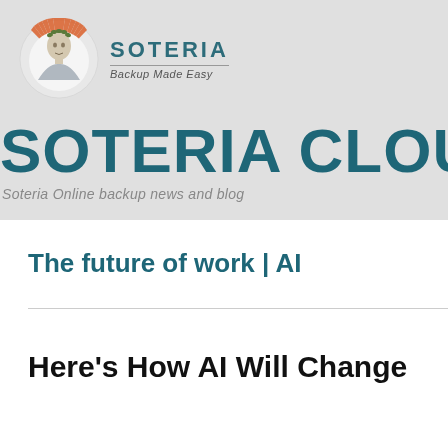[Figure (logo): Soteria logo: circular emblem with classical figure bust surrounded by orange radiating lines, with text SOTERIA and tagline Backup Made Easy]
SOTERIA CLOUD BA
Soteria Online backup news and blog
The future of work | AI
Here’s How AI Will Change